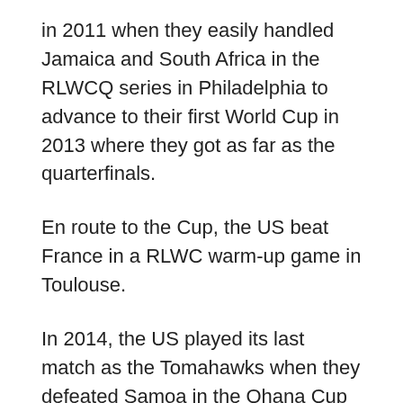in 2011 when they easily handled Jamaica and South Africa in the RLWCQ series in Philadelphia to advance to their first World Cup in 2013 where they got as far as the quarterfinals.
En route to the Cup, the US beat France in a RLWC warm-up game in Toulouse.
In 2014, the US played its last match as the Tomahawks when they defeated Samoa in the Ohana Cup in Honolulu. They finished their reign with an overall win-loss record of 35-22.
Since mid-2014, the team has been playing as the USA Hawks and as covered in Part 1 of our review of the national team then and now, it has an overall record of 8-7.
While it's difficult to rank one team against the other, as it's